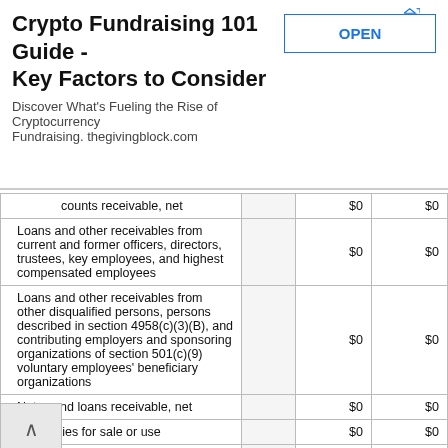[Figure (other): Advertisement banner: Crypto Fundraising 101 Guide - Key Factors to Consider. Discover What's Fueling the Rise of Cryptocurrency Fundraising. thegivingblock.com. With an OPEN button.]
| Description |  | Col1 | Col2 |
| --- | --- | --- | --- |
| counts receivable, net |  | $0 | $0 |
| Loans and other receivables from current and former officers, directors, trustees, key employees, and highest compensated employees |  | $0 | $0 |
| Loans and other receivables from other disqualified persons, persons described in section 4958(c)(3)(B), and contributing employers and sponsoring organizations of section 501(c)(9) voluntary employees' beneficiary organizations |  | $0 | $0 |
| Notes and loans receivable, net |  | $0 | $0 |
| Inventories for sale or use |  | $0 | $0 |
| Prepaid expenses and deferred charges |  | $0 | $0 |
| Land, buildings, and equipment: cost or other basis |  | $33,32... | ...561 |
| Investments - publicly traded securities |  | $0 | $0 |